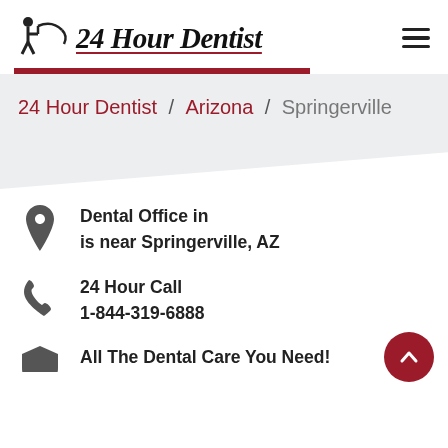24 Hour Dentist
24 Hour Dentist / Arizona / Springerville
Dental Office in is near Springerville, AZ
24 Hour Call 1-844-319-6888
All The Dental Care You Need!